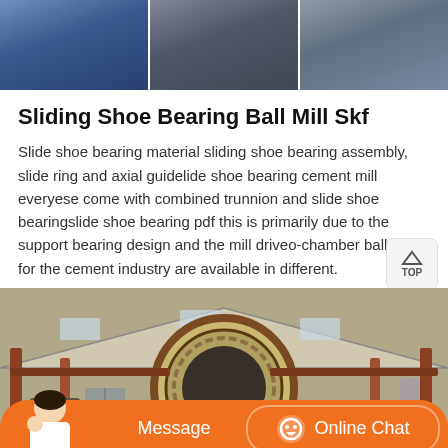[Figure (photo): Top banner photo showing workers/people in an industrial or workshop setting, three segments side by side]
Sliding Shoe Bearing Ball Mill Skf
Slide shoe bearing material sliding shoe bearing assembly, slide ring and axial guidelide shoe bearing cement mill everyese come with combined trunnion and slide shoe bearingslide shoe bearing pdf this is primarily due to the support bearing design and the mill driveo-chamber ball mills for the cement industry are available in different.
[Figure (photo): Industrial photo showing interior of a large factory/mill building with a large circular ball mill drum or ring gear, steel support structures, and industrial equipment]
Message   Online Chat